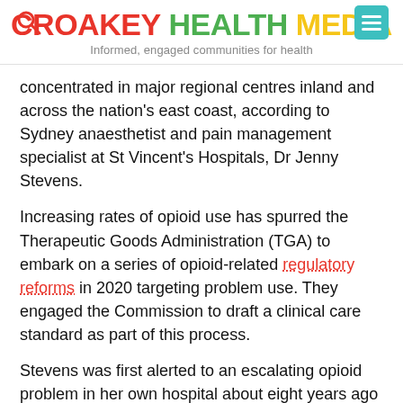CROAKEY HEALTH MEDIA — Informed, engaged communities for health
concentrated in major regional centres inland and across the nation's east coast, according to Sydney anaesthetist and pain management specialist at St Vincent's Hospitals, Dr Jenny Stevens.
Increasing rates of opioid use has spurred the Therapeutic Goods Administration (TGA) to embark on a series of opioid-related regulatory reforms in 2020 targeting problem use. They engaged the Commission to draft a clinical care standard as part of this process.
Stevens was first alerted to an escalating opioid problem in her own hospital about eight years ago by the pharmacy, whose staff were concerned about the